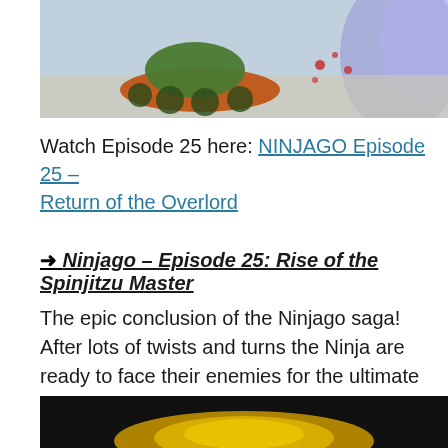[Figure (photo): Screenshot from Ninjago animated show showing a colorful vehicle/tank on a light background with purple/blue light effects on the right side]
Watch Episode 25 here: NINJAGO Episode 25 – Return of the Overlord
➜ Ninjago – Episode 25: Rise of the Spinjitzu Master
The epic conclusion of the Ninjago saga! After lots of twists and turns the Ninja are ready to face their enemies for the ultimate outcome!
[Figure (photo): Dark screenshot from Ninjago showing a golden object at the bottom of the frame]